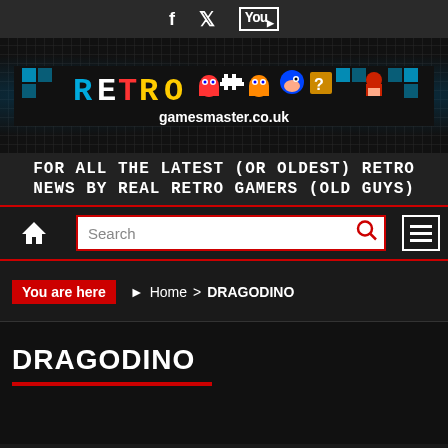f  twitter  YouTube (social icons)
[Figure (logo): Retro Gamesmaster logo banner with pixel art game characters and text 'gamesmaster.co.uk' on dark pixelated background]
FOR ALL THE LATEST (OR OLDEST) RETRO NEWS BY REAL RETRO GAMERS (OLD GUYS)
[Figure (screenshot): Navigation bar with home icon, search box, and hamburger menu on dark background with red borders]
You are here  Home > DRAGODINO
DRAGODINO